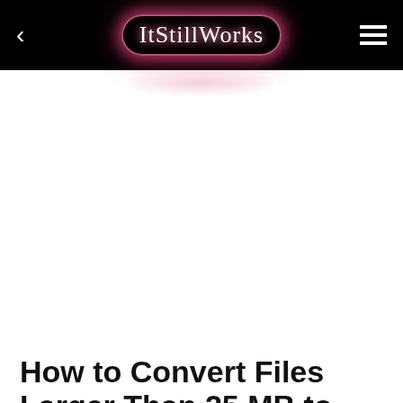ItStillWorks
REFERENCES   TIPS   WRITER BIO
Home • Software
How to Convert Files Larger Than 25 MB to PDF